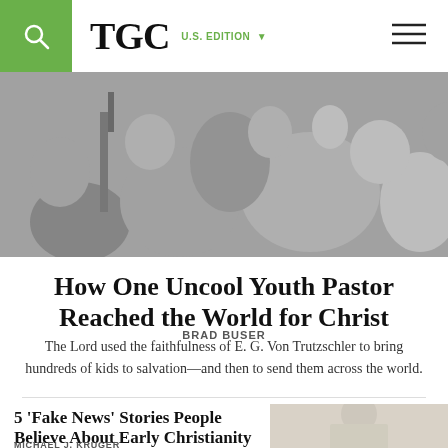TGC U.S. EDITION
[Figure (photo): Black and white photo of a group of young people sitting on a floor in a circle, appearing to be in a youth group or Bible study setting.]
How One Uncool Youth Pastor Reached the World for Christ
BRAD BUSER
The Lord used the faithfulness of E. G. Von Trutzschler to bring hundreds of kids to salvation—and then to send them across the world.
5 'Fake News' Stories People Believe About Early Christianity
MICHAEL J. KRUGER
[Figure (photo): Photo of a person in light-colored clothing holding something, standing in a field.]